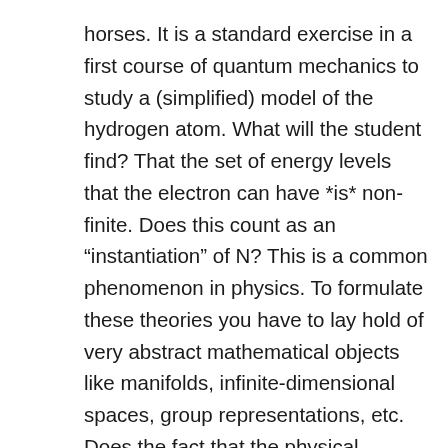horses. It is a standard exercise in a first course of quantum mechanics to study a (simplified) model of the hydrogen atom. What will the student find? That the set of energy levels that the electron can have *is* non-finite. Does this count as an “instantiation” of N? This is a common phenomenon in physics. To formulate these theories you have to lay hold of very abstract mathematical objects like manifolds, infinite-dimensional spaces, group representations, etc. Does the fact that the physical theories need these mathematical objects to formulate them automatically confers a positive ontological status on the objects themselves? If not, why not? And the reverse question too, I suppose.